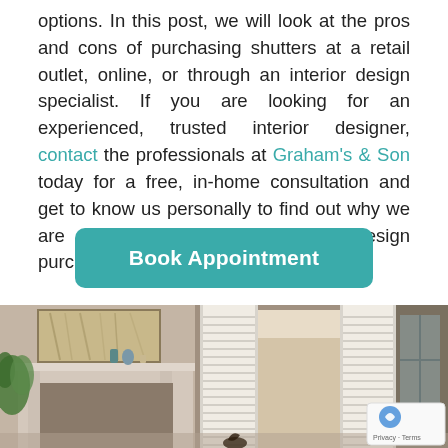options. In this post, we will look at the pros and cons of purchasing shutters at a retail outlet, online, or through an interior design specialist. If you are looking for an experienced, trusted interior designer, contact the professionals at Graham's & Son today for a free, in-home consultation and get to know us personally to find out why we are your best choice for interior design purchases.
[Figure (other): Teal rounded rectangle button labeled 'Book Appointment' in bold white text]
[Figure (photo): Interior room photo showing white plantation shutters on a doorway/window, a fireplace mantel with artwork above it, green plant on the left, and decorative items on the mantel. Warm beige/taupe color scheme.]